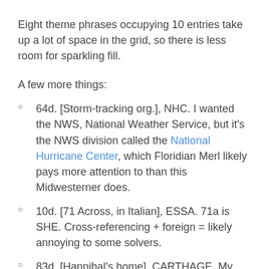Eight theme phrases occupying 10 entries take up a lot of space in the grid, so there is less room for sparkling fill.
A few more things:
64d. [Storm-tracking org.], NHC. I wanted the NWS, National Weather Service, but it's the NWS division called the National Hurricane Center, which Floridian Merl likely pays more attention to than this Midwesterner does.
10d. [71 Across, in Italian], ESSA. 71a is SHE. Cross-referencing + foreign = likely annoying to some solvers.
83d. [Hannibal's home], CARTHAGE. My first thoughts were Hannibal Lecter and Hannibal, Missouri.
84d. [Certain music note], A NATURAL. This one